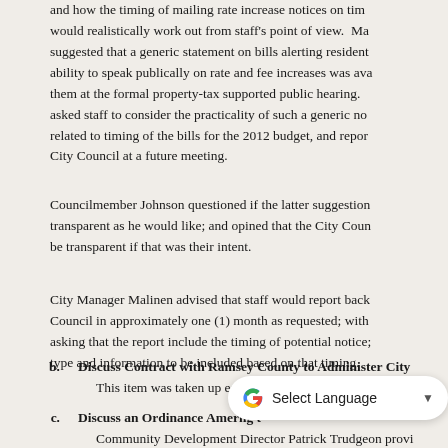and how the timing of mailing rate increase notices on time would realistically work out from staff's point of view. Ma suggested that a generic statement on bills alerting residents ability to speak publically on rate and fee increases was ava them at the formal property-tax supported public hearing. asked staff to consider the practicality of such a generic no related to timing of the bills for the 2012 budget, and repor City Council at a future meeting.
Councilmember Johnson questioned if the latter suggestion transparent as he would like; and opined that the City Coun be transparent if that was their intent.
City Manager Malinen advised that staff would report back Council in approximately one (1) month as requested; with asking that the report include the timing of potential notice; type and information to be included based on that timing.
b. Discuss Contract with Ramsey County to Administer City
This item was taken up earlier in the meeting, between 10.c
c. Discuss an Ordinance Amer... ng t
Community Development Director Patrick Trudgeon provi